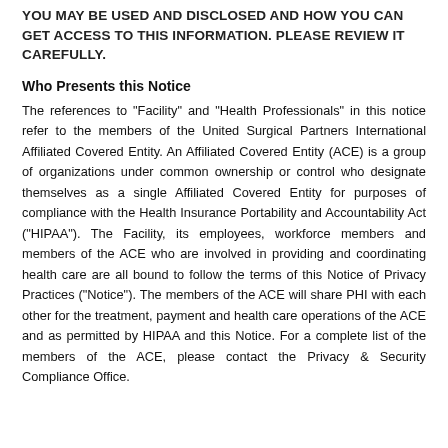YOU MAY BE USED AND DISCLOSED AND HOW YOU CAN GET ACCESS TO THIS INFORMATION. PLEASE REVIEW IT CAREFULLY.
Who Presents this Notice
The references to "Facility" and "Health Professionals" in this notice refer to the members of the United Surgical Partners International Affiliated Covered Entity. An Affiliated Covered Entity (ACE) is a group of organizations under common ownership or control who designate themselves as a single Affiliated Covered Entity for purposes of compliance with the Health Insurance Portability and Accountability Act ("HIPAA"). The Facility, its employees, workforce members and members of the ACE who are involved in providing and coordinating health care are all bound to follow the terms of this Notice of Privacy Practices ("Notice"). The members of the ACE will share PHI with each other for the treatment, payment and health care operations of the ACE and as permitted by HIPAA and this Notice. For a complete list of the members of the ACE, please contact the Privacy & Security Compliance Office.